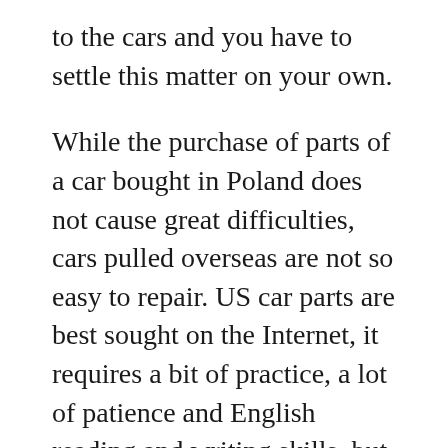to the cars and you have to settle this matter on your own.
While the purchase of parts of a car bought in Poland does not cause great difficulties, cars pulled overseas are not so easy to repair. US car parts are best sought on the Internet, it requires a bit of practice, a lot of patience and English reading and writing skills, but it is real to do.
American cars, although visually and technically similar, require original parts to function properly. To extend their life